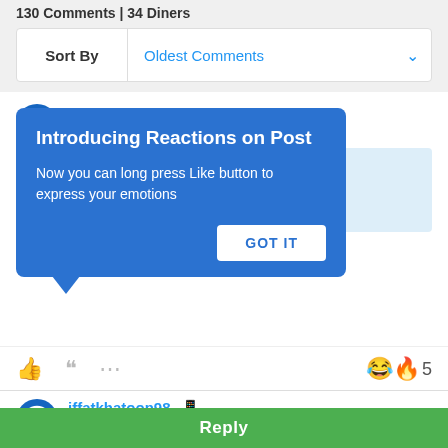130 Comments | 34 Diners
Sort By  Oldest Comments
xxxyyyzzz
[Figure (screenshot): Tooltip overlay with title 'Introducing Reactions on Post', body 'Now you can long press Like button to express your emotions', and a GOT IT button]
😂🔥 5
iffatkhatoon98  5 months
Brush n gargle karna important hai...tooth decay happens bcos of food particles if left during long hours of sleep... Baaki sab bakwas
Reply